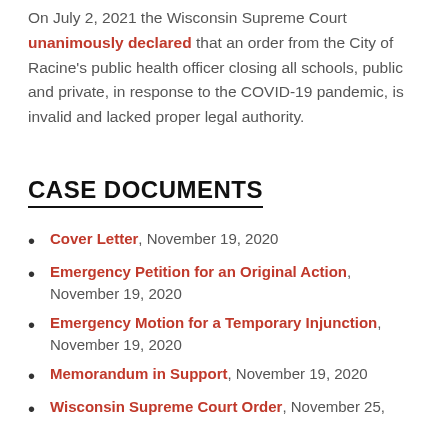On July 2, 2021 the Wisconsin Supreme Court unanimously declared that an order from the City of Racine's public health officer closing all schools, public and private, in response to the COVID-19 pandemic, is invalid and lacked proper legal authority.
CASE DOCUMENTS
Cover Letter, November 19, 2020
Emergency Petition for an Original Action, November 19, 2020
Emergency Motion for a Temporary Injunction, November 19, 2020
Memorandum in Support, November 19, 2020
Wisconsin Supreme Court Order, November 25,